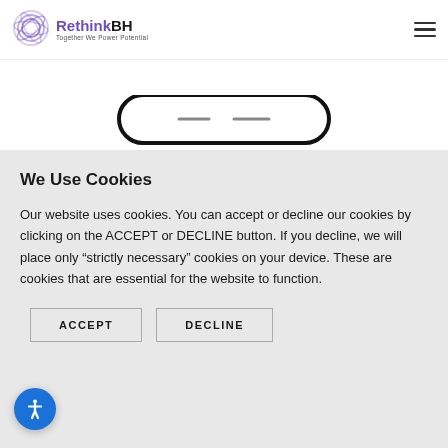RethinkBH — Together We Power Potential
[Figure (screenshot): Bottom portion of a smartphone/device UI showing a rounded rectangle bar]
We Use Cookies
Our website uses cookies. You can accept or decline our cookies by clicking on the ACCEPT or DECLINE button. If you decline, we will place only “strictly necessary” cookies on your device. These are cookies that are essential for the website to function.
ACCEPT | DECLINE